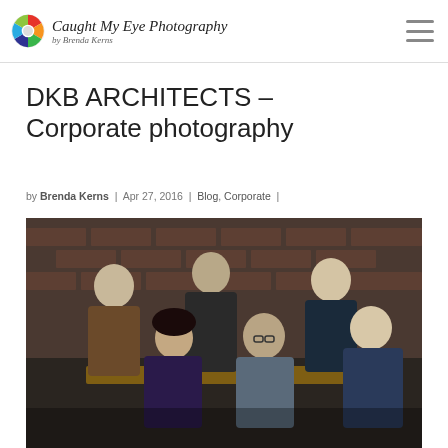Caught My Eye Photography by Brenda Kerns
DKB ARCHITECTS – Corporate photography
by Brenda Kerns | Apr 27, 2016 | Blog, Corporate |
[Figure (photo): Group corporate photo of five people (three men standing in back, one woman and two men in front) in an office/studio setting with brick walls and drafting tables]